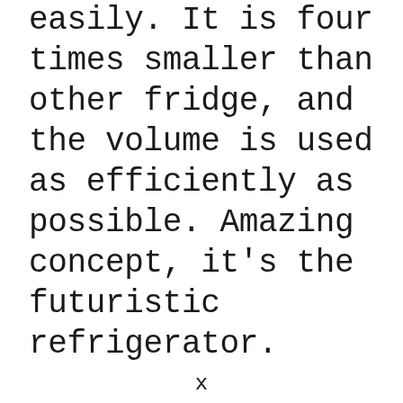easily. It is four times smaller than other fridge, and the volume is used as efficiently as possible. Amazing concept, it’s the futuristic refrigerator.
x